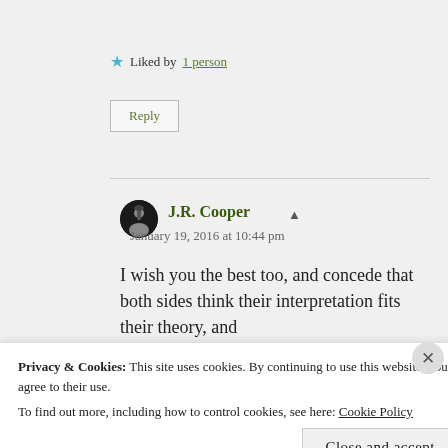★ Liked by 1 person
Reply
J.R. Cooper
January 19, 2016 at 10:44 pm
I wish you the best too, and concede that both sides think their interpretation fits their theory, and
Privacy & Cookies: This site uses cookies. By continuing to use this website, you agree to their use.
To find out more, including how to control cookies, see here: Cookie Policy
Close and accept